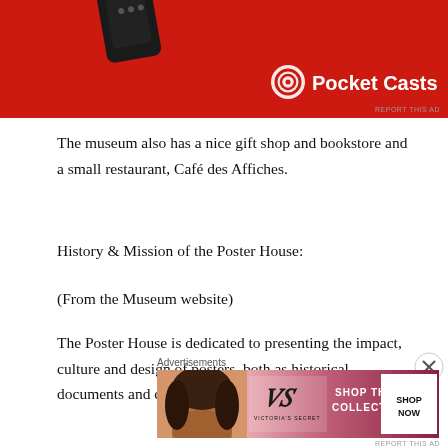[Figure (photo): Pocket Casts advertisement with red background showing a phone and the Pocket Casts logo]
The museum also has a nice gift shop and bookstore and a small restaurant, Café des Affiches.
History & Mission of the Poster House:
(From the Museum website)
The Poster House is dedicated to presenting the impact, culture and design of posters, both as historical documents and contemporary visual communication.
Advertisements
[Figure (photo): Victoria's Secret advertisement showing a woman, the VS logo, SHOP THE COLLECTION text and SHOP NOW button]